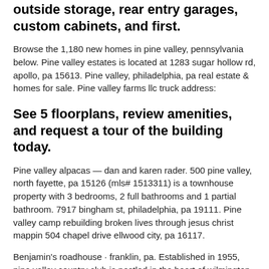outside storage, rear entry garages, custom cabinets, and first.
Browse the 1,180 new homes in pine valley, pennsylvania below. Pine valley estates is located at 1283 sugar hollow rd, apollo, pa 15613. Pine valley, philadelphia, pa real estate & homes for sale. Pine valley farms llc truck address:
See 5 floorplans, review amenities, and request a tour of the building today.
Pine valley alpacas — dan and karen rader. 500 pine valley, north fayette, pa 15126 (mls# 1513311) is a townhouse property with 3 bedrooms, 2 full bathrooms and 1 partial bathroom. 7917 bingham st, philadelphia, pa 19111. Pine valley camp rebuilding broken lives through jesus christ mappin 504 chapel drive ellwood city, pa 16117.
Benjamin's roadhouse · franklin, pa. Established in 1955, pine valley country club is nestled in the heart of wilmington, north carolina. See